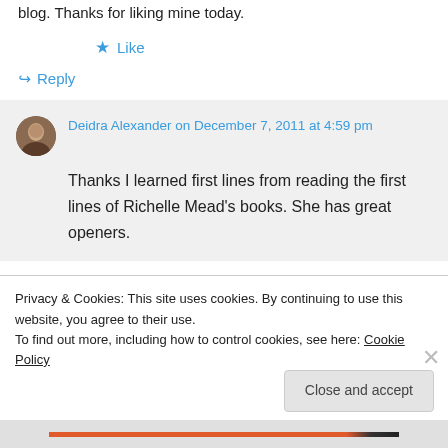blog. Thanks for liking mine today.
★ Like
↪ Reply
Deidra Alexander on December 7, 2011 at 4:59 pm
Thanks I learned first lines from reading the first lines of Richelle Mead's books. She has great openers.
Privacy & Cookies: This site uses cookies. By continuing to use this website, you agree to their use.
To find out more, including how to control cookies, see here: Cookie Policy
Close and accept